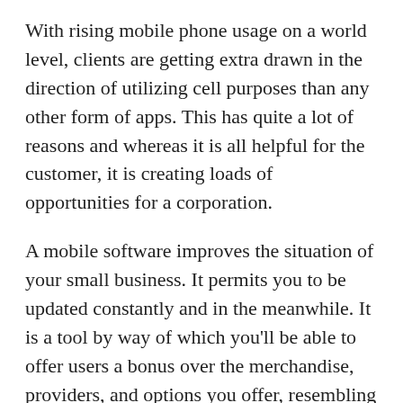With rising mobile phone usage on a world level, clients are getting extra drawn in the direction of utilizing cell purposes than any other form of apps. This has quite a lot of reasons and whereas it is all helpful for the customer, it is creating loads of opportunities for a corporation.
A mobile software improves the situation of your small business. It permits you to be updated constantly and in the meanwhile. It is a tool by way of which you'll be able to offer users a bonus over the merchandise, providers, and options you offer, resembling provides, special discounts or factors, rewards, and loyalty packages to be used.
Certainly, some cellular apps have turn into indispensable in our life. We use apps for lots of issues that should do with work and the work ambiance. In our private life, in our free time, we play sports